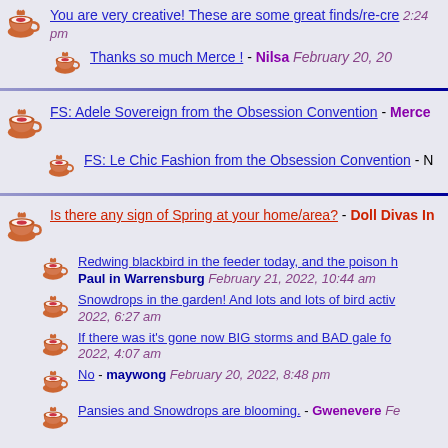You are very creative! These are some great finds/re-cre... 2:24 pm
Thanks so much Merce ! - Nilsa February 20, 20...
FS: Adele Sovereign from the Obsession Convention - Merce
FS: Le Chic Fashion from the Obsession Convention - N...
Is there any sign of Spring at your home/area? - Doll Divas In...
Redwing blackbird in the feeder today, and the poison h... Paul in Warrensburg February 21, 2022, 10:44 am
Snowdrops in the garden! And lots and lots of bird activ... 2022, 6:27 am
If there was it's gone now BIG storms and BAD gale fo... 2022, 4:07 am
No - maywong February 20, 2022, 8:48 pm
Pansies and Snowdrops are blooming. - Gwenevere Fe...